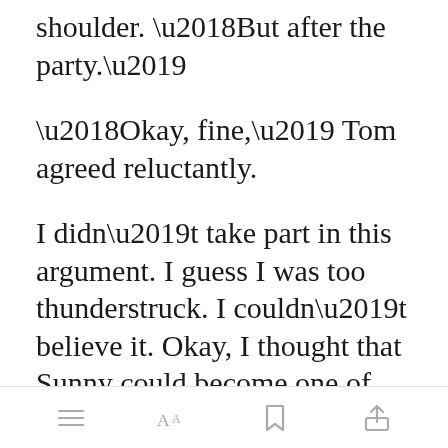shoulder. ‘But after the party.’
‘Okay, fine,’ Tom agreed reluctantly.
I didn’t take part in this argument. I guess I was too thunderstruck. I couldn’t believe it. Okay, I thought that Sunny could become one of the princesses. But to become the beauty queen. I absolutely didn’t agree with it!